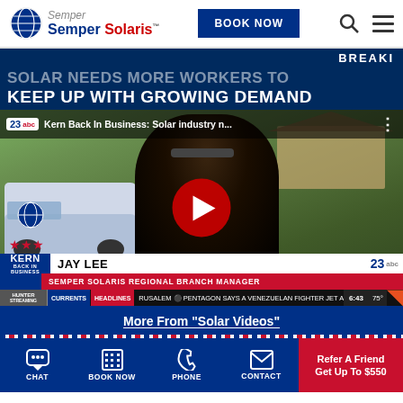[Figure (logo): Semper Solaris company logo with globe icon]
BOOK NOW
BREAKI
SOLAR NEEDS MORE WORKERS TO KEEP UP WITH GROWING DEMAND
[Figure (screenshot): YouTube video thumbnail: Kern Back In Business: Solar industry n... featuring Jay Lee, Semper Solaris Regional Branch Manager, with a Semper Solaris van in background. Play button overlay visible. News ticker at bottom reads: CURRENTS HEADLINES RUSALEM PENTAGON SAYS A VENEZUELAN FIGHTER JET A. Time: 6:43 75°]
JAY LEE
SEMPER SOLARIS REGIONAL BRANCH MANAGER
More From "Solar Videos"
CHAT
BOOK NOW
PHONE
CONTACT
Refer A Friend
Get Up To $550